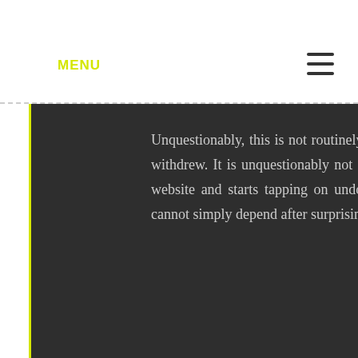MENU
Unquestionably, this is not routinely the occasion really gambling, regardless of whether online or withdrew. It is unquestionably not a reasonable plan to just well while on the way to a gambling website and starts tapping on undoubtedly the essential pick that you see. Constantly end, you cannot simply depend after surprising great karma to win credit in